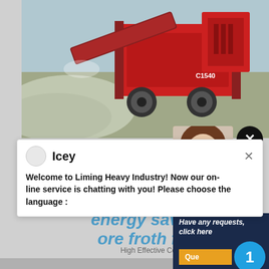[Figure (photo): Red heavy industrial crushing/screening machine (C1540 model) on gravel/aggregate site]
[Figure (photo): Partial view of a person (brown hair) appearing in top-right corner behind chat popup]
Icey
Welcome to Liming Heavy Industry! Now our on-line service is chatting with you! Please choose the language :
energy saving hot sale t
ore froth flotation mac
High Effective Copper Ore Flotation Machine For S largescale manufacturer specializing in producing v machines including different types of sand and gra milling equipment, mineral processing equipment
CHAT ONLINE
Have any requests, click here
Que
1
Enquiry
limingjlmofen@sina.com